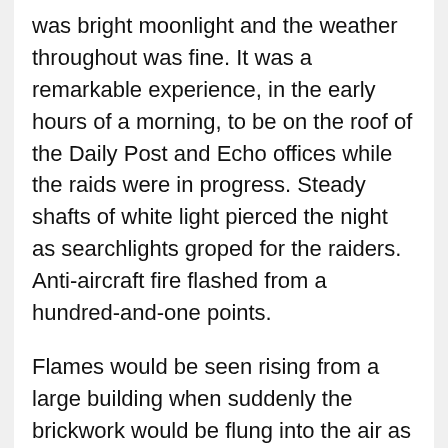was bright moonlight and the weather throughout was fine. It was a remarkable experience, in the early hours of a morning, to be on the roof of the Daily Post and Echo offices while the raids were in progress. Steady shafts of white light pierced the night as searchlights groped for the raiders. Anti-aircraft fire flashed from a hundred-and-one points.
Flames would be seen rising from a large building when suddenly the brickwork would be flung into the air as a high-explosive dropped. Away in the distant suburbs incendiary bombs rattled town with their peculiar hiss, to light up a whole district when they reached earth.
On some of the nights, watchers on high...